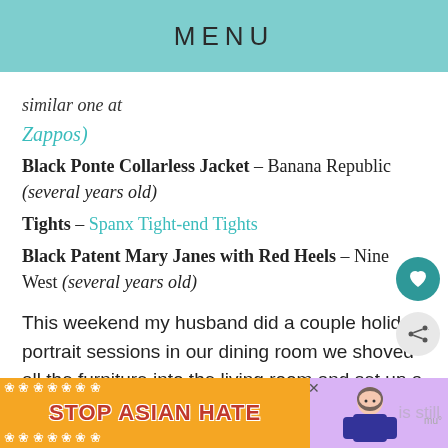MENU
similar one at
Zappos)
Black Ponte Collarless Jacket – Banana Republic (several years old)
Tights – Spanx Tight-end Tights
Black Patent Mary Janes with Red Heels – Nine West (several years old)
This weekend my husband did a couple holiday portrait sessions in our dining room we shoved all the furniture into the living room and set up a backdrop, lights, the whole situation. As I recall not only is this still